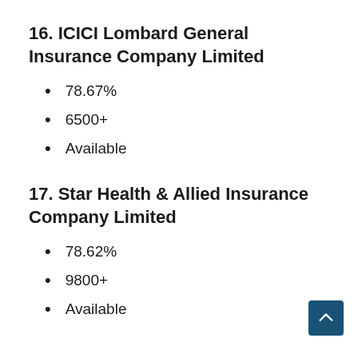16. ICICI Lombard General Insurance Company Limited
78.67%
6500+
Available
17. Star Health & Allied Insurance Company Limited
78.62%
9800+
Available